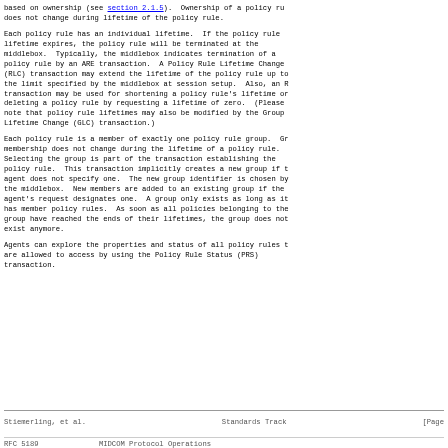based on ownership (see section 2.1.5).  Ownership of a policy rule does not change during lifetime of the policy rule.
Each policy rule has an individual lifetime.  If the policy rule lifetime expires, the policy rule will be terminated at the middlebox.  Typically, the middlebox indicates termination of a policy rule by an ARE transaction.  A Policy Rule Lifetime Change (RLC) transaction may extend the lifetime of the policy rule up to the limit specified by the middlebox at session setup.  Also, an R transaction may be used for shortening a policy rule's lifetime or deleting a policy rule by requesting a lifetime of zero.  (Please note that policy rule lifetimes may also be modified by the Group Lifetime Change (GLC) transaction.)
Each policy rule is a member of exactly one policy rule group.  Gr membership does not change during the lifetime of a policy rule. Selecting the group is part of the transaction establishing the policy rule.  This transaction implicitly creates a new group if t agent does not specify one.  The new group identifier is chosen by the middlebox.  New members are added to an existing group if the agent's request designates one.  A group only exists as long as it has member policy rules.  As soon as all policies belonging to the group have reached the ends of their lifetimes, the group does not exist anymore.
Agents can explore the properties and status of all policy rules t are allowed to access by using the Policy Rule Status (PRS) transaction.
Stiemerling, et al.          Standards Track                    [Page